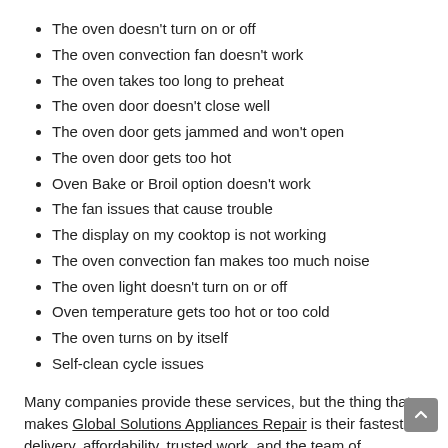The oven doesn't turn on or off
The oven convection fan doesn't work
The oven takes too long to preheat
The oven door doesn't close well
The oven door gets jammed and won't open
The oven door gets too hot
Oven Bake or Broil option doesn't work
The fan issues that cause trouble
The display on my cooktop is not working
The oven convection fan makes too much noise
The oven light doesn't turn on or off
Oven temperature gets too hot or too cold
The oven turns on by itself
Self-clean cycle issues
Many companies provide these services, but the thing that makes Global Solutions Appliances Repair is their fastest delivery, affordability, trusted work, and the team of professionals